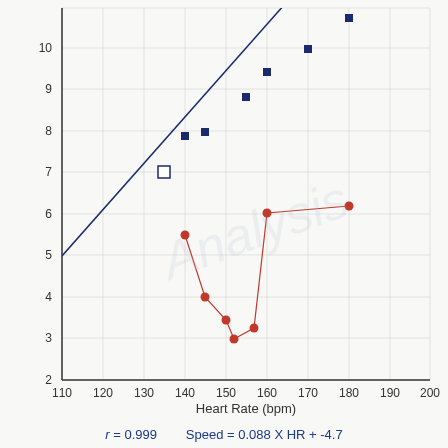[Figure (continuous-plot): Scatter plot with two data series and a fitted regression line. Blue filled squares show a linear relationship between Heart Rate (x-axis, 110-200 bpm) and an unlabeled y-axis (2-10+). A regression line fits the blue data tightly (r=0.999). Red circles show a separate, irregular pattern at lower y-values in the 140-180 bpm range. One blue open square is shown as an outlier near (135, 7). Watermark text visible in background.]
r = 0.999     Speed = 0.088 X HR + -4.7